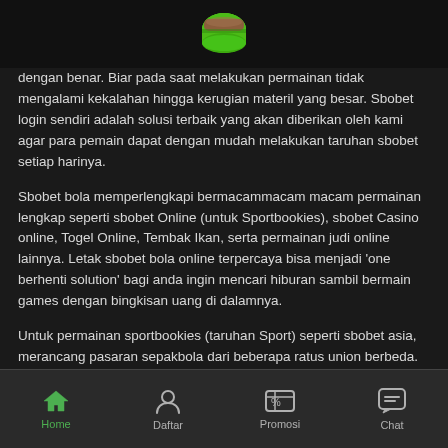[Figure (logo): Green and brown battery/flashlight logo icon on dark background]
dengan benar. Biar pada saat melakukan permainan tidak mengalami kekalahan hingga kerugian materil yang besar. Sbobet login sendiri adalah solusi terbaik yang akan diberikan oleh kami agar para pemain dapat dengan mudah melakukan taruhan sbobet setiap harinya.
Sbobet bola memperlengkapi bermacammacam macam permainan lengkap seperti sbobet Online (untuk Sportbookies), sbobet Casino online, Togel Online, Tembak Ikan, serta permainan judi online lainnya. Letak sbobet bola online terpercaya bisa menjadi 'one berhenti solution' bagi anda ingin mencari hiburan sambil bermain games dengan bingkisan uang di dalamnya.
Untuk permainan sportbookies (taruhan Sport) seperti sbobet asia, merancang pasaran sepakbola dari beberapa ratus union berbeda. Bahkan bila kalian pecinta bola cacing, kau bisa memainkan taruhan dari kompetisi kelas dua seperti Yunani Div 2/ Italia Seri B
Home   Daftar   Promosi   Chat